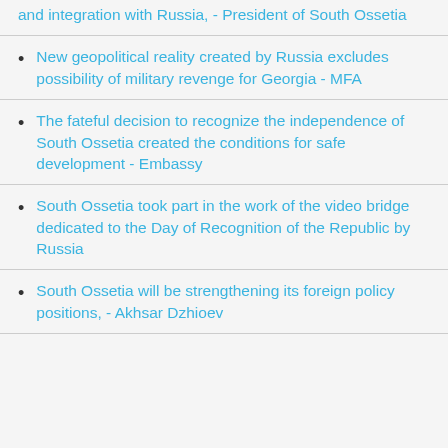and integration with Russia, - President of South Ossetia
New geopolitical reality created by Russia excludes possibility of military revenge for Georgia - MFA
The fateful decision to recognize the independence of South Ossetia created the conditions for safe development - Embassy
South Ossetia took part in the work of the video bridge dedicated to the Day of Recognition of the Republic by Russia
South Ossetia will be strengthening its foreign policy positions, - Akhsar Dzhioev